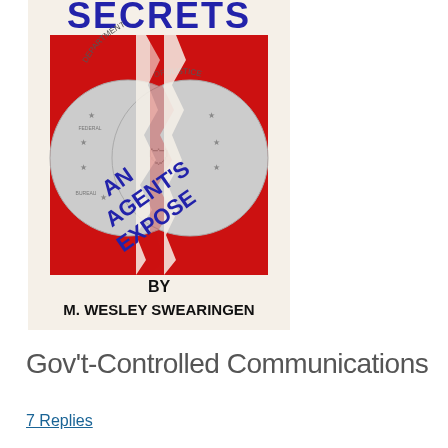[Figure (illustration): Book cover for 'FBI Secrets: An Agent's Expose' by M. Wesley Swearingen. Shows a torn FBI seal (Department of Justice / Federal Bureau of Investigation) on a red background, with 'AN AGENT'S EXPOSE' in bold blue diagonal text and 'BY M. WESLEY SWEARINGEN' in black text at the bottom. The top shows 'SECRETS' in large blue letters.]
Gov't-Controlled Communications
7 Replies